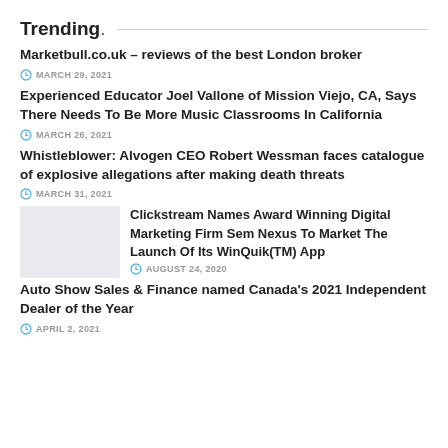Trending.
Marketbull.co.uk – reviews of the best London broker
MARCH 29, 2021
Experienced Educator Joel Vallone of Mission Viejo, CA, Says There Needs To Be More Music Classrooms In California
MARCH 26, 2021
Whistleblower: Alvogen CEO Robert Wessman faces catalogue of explosive allegations after making death threats
MARCH 31, 2021
[Figure (photo): Thumbnail image placeholder (light grey)]
Clickstream Names Award Winning Digital Marketing Firm Sem Nexus To Market The Launch Of Its WinQuik(TM) App
AUGUST 24, 2020
Auto Show Sales & Finance named Canada's 2021 Independent Dealer of the Year
APRIL 2, 2021